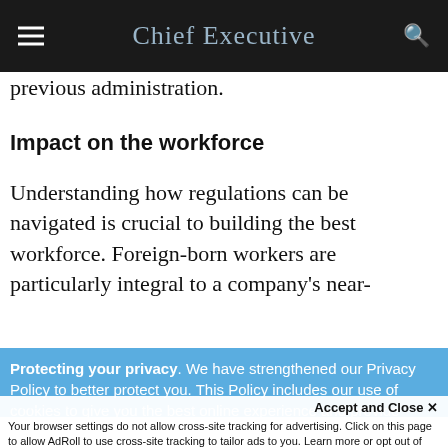Chief Executive
previous administration.
Impact on the workforce
Understanding how regulations can be navigated is crucial to building the best workforce. Foreign-born workers are particularly integral to a company's near-
Protecting your privacy. We have strengthened our Privacy Policy to better protect you. This Policy includes our use of cookies to give you the best online experience and provide functionality essential to our services. By clicking 'Close' or by continuing to use our website, you are consenting to our
Accept and Close ×
Your browser settings do not allow cross-site tracking for advertising. Click on this page to allow AdRoll to use cross-site tracking to tailor ads to you. Learn more or opt out of this AdRoll tracking by clicking here. This message only appears once.